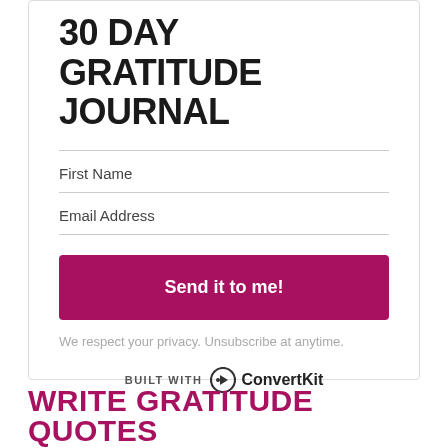30 DAY GRATITUDE JOURNAL
First Name
Email Address
Send it to me!
We respect your privacy. Unsubscribe at anytime.
BUILT WITH ConvertKit
WRITE GRATITUDE QUOTES